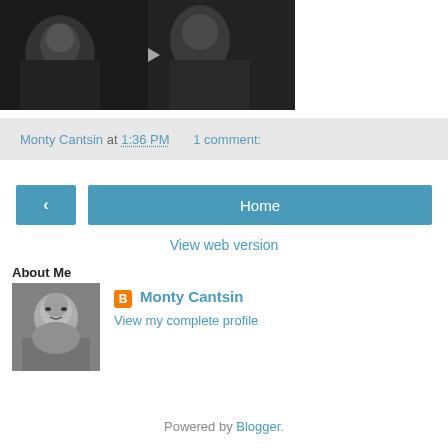[Figure (photo): Dark blurry photo of people in black and white tones, appears to be a video screenshot]
Monty Cantsin at 1:36 PM   1 comment:
‹
Home
View web version
About Me
[Figure (photo): Black and white headshot photo of a young male]
Monty Cantsin
View my complete profile
Powered by Blogger.